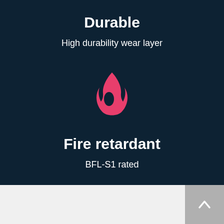Durable
High durability wear layer
[Figure (illustration): Pink flame icon representing fire retardant property]
Fire retardant
BFL-S1 rated
Malmo Chevron Vintage Flooring